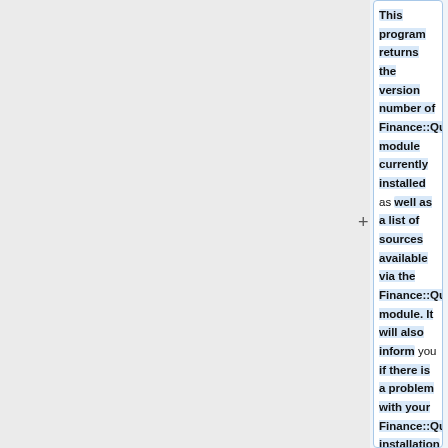This program returns the version number of Finance::Quote module currently installed as well as a list of sources available via the Finance::Quote module. It will also inform you if there is a problem with your Finance::Quote installation or if it is missing, and may suggest a fix.